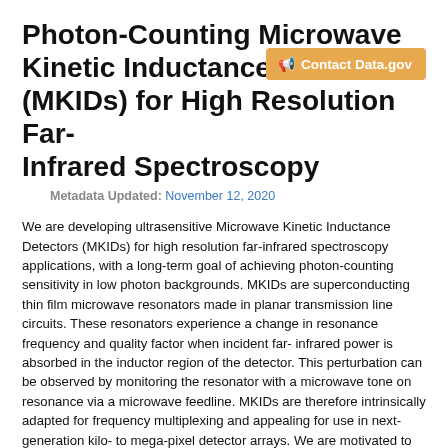Photon-Counting Microwave Kinetic Inductance Detectors (MKIDs) for High Resolution Far-Infrared Spectroscopy
Metadata Updated: November 12, 2020
We are developing ultrasensitive Microwave Kinetic Inductance Detectors (MKIDs) for high resolution far-infrared spectroscopy applications, with a long-term goal of achieving photon-counting sensitivity in low photon backgrounds. MKIDs are superconducting thin film microwave resonators made in planar transmission line circuits. These resonators experience a change in resonance frequency and quality factor when incident far-infrared power is absorbed in the inductor region of the detector. This perturbation can be observed by monitoring the resonator with a microwave tone on resonance via a microwave feedline. MKIDs are therefore intrinsically adapted for frequency multiplexing and appealing for use in next-generation kilo- to mega-pixel detector arrays. We are motivated to pursue developments which will lead to MKIDs with photon-counting